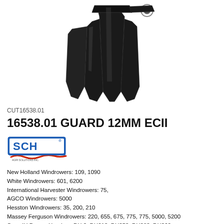[Figure (photo): Black painted metal guard part (16538.01 Guard 12MM ECII) shown from above against white background, showing two pointed tines and mounting hardware.]
CUT16538.01
16538.01 GUARD 12MM ECII
[Figure (logo): SCH brand logo — blue letters SCH with a blue underline and red S-curl accent below, with registered trademark symbol.]
New Holland Windrowers: 109, 1090
White Windrowers: 601, 6200
International Harvester Windrowers: 75,
AGCO Windrowers: 5000
Hesston Windrowers: 35, 200, 210
Massey Ferguson Windrowers: 220, 655, 675, 775, 775, 5000, 5200
Case IH Draper Headers: DH 2, DH212, DH252, DH282, DH362,